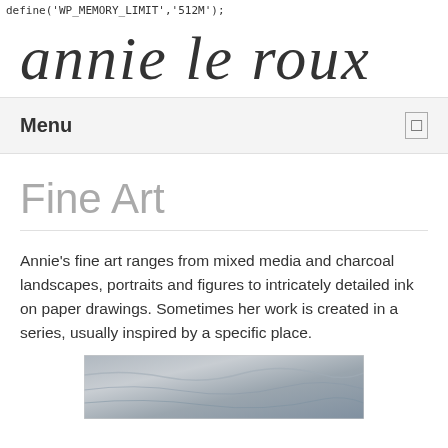define('WP_MEMORY_LIMIT','512M');
annie le roux
Menu
Fine Art
Annie's fine art ranges from mixed media and charcoal landscapes, portraits and figures to intricately detailed ink on paper drawings. Sometimes her work is created in a series, usually inspired by a specific place.
[Figure (photo): Partial view of a grey-toned fine art image, appears to be a landscape or seascape in charcoal or mixed media]